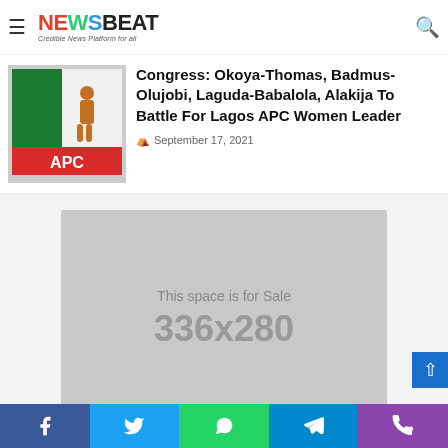NEWSBEAT — Credible News Platform for all
Congress: Okoya-Thomas, Badmus-Olujobi, Laguda-Babalola, Alakija To Battle For Lagos APC Women Leader
September 17, 2021
[Figure (illustration): APC logo placeholder image — green, white, red flag design with text APC]
[Figure (other): Advertisement placeholder: This space is for Sale 336x280]
Social share bar: Facebook, Twitter, WhatsApp, Telegram, Phone